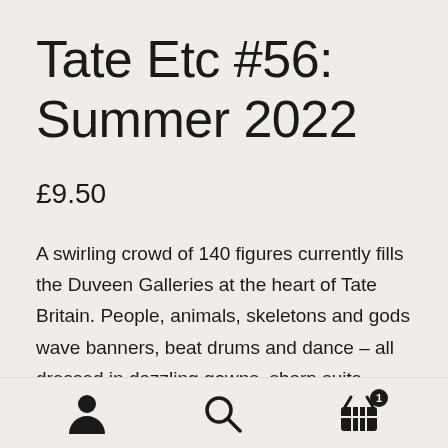Tate Etc #56: Summer 2022
£9.50
A swirling crowd of 140 figures currently fills the Duveen Galleries at the heart of Tate Britain. People, animals, skeletons and gods wave banners, beat drums and dance – all dressed in dazzling gowns, sharp suits, funeral robes and flowing cloaks adorned with stars, medals and jewels, photographs and colonial banknotes. In Hew Locke's The
[navigation icons: user, search, basket with badge 1]